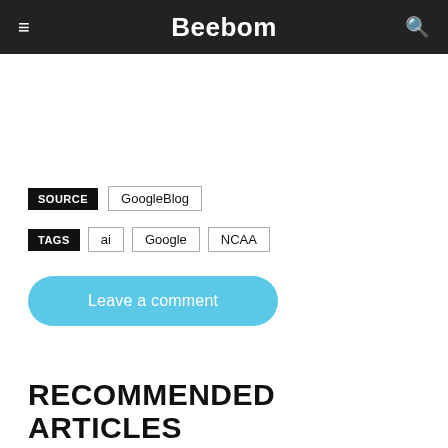Beebom
SOURCE   GoogleBlog
TAGS   ai   Google   NCAA
Leave a comment
RECOMMENDED ARTICLES